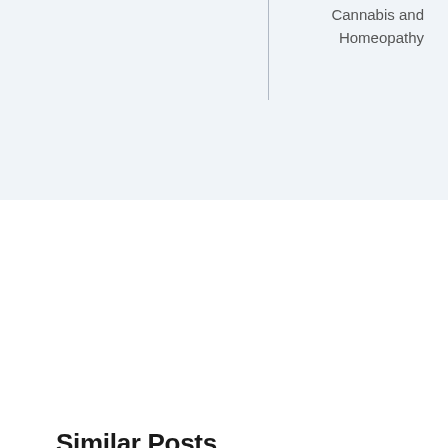Cannabis and Homeopathy
Similar Posts
[Figure (photo): Five women seated in a modern bright living room with sofas and a glass coffee table, some with laptops and tablets, in colorful African print clothing]